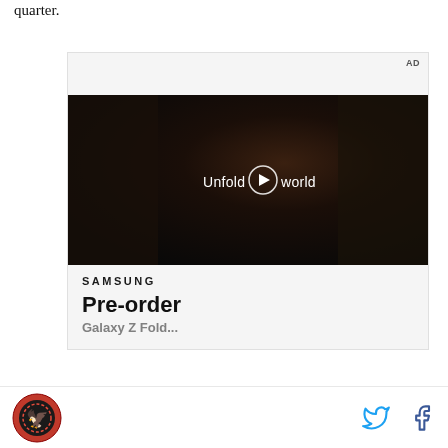quarter.
[Figure (screenshot): Samsung advertisement with 'AD' label in top right. Contains a video player showing a woman in a car holding a foldable smartphone. Text overlay reads 'Unfold your world' with a play button. Below the video: Samsung logo and 'Pre-order' heading.]
Footer with logo icon on the left and Twitter and Facebook social icons on the right.